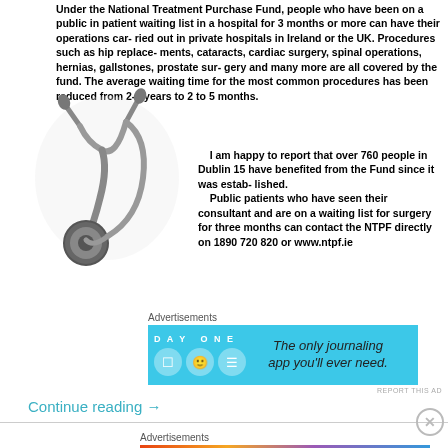Under the National Treatment Purchase Fund, people who have been on a public in patient waiting list in a hospital for 3 months or more can have their operations carried out in private hospitals in Ireland or the UK. Procedures such as hip replacements, cataracts, cardiac surgery, spinal operations, hernias, gallstones, prostate surgery and many more are all covered by the fund. The average waiting time for the most common procedures has been reduced from 2-5 years to 2 to 5 months.
[Figure (photo): A stethoscope coiled on a white background]
I am happy to report that over 760 people in Dublin 15 have benefited from the Fund since it was established. Public patients who have seen their consultant and are on a waiting list for surgery for three months can contact the NTPF directly on 1890 720 820 or www.ntpf.ie
Advertisements
[Figure (screenshot): DAY ONE journaling app advertisement banner on blue background with text: The only journaling app you'll ever need.]
Continue reading →
Advertisements
[Figure (screenshot): FANDOM ON tumblr advertisement banner with colorful gradient background]